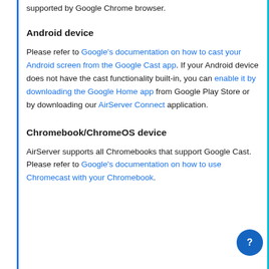supported by Google Chrome browser.
Android device
Please refer to Google's documentation on how to cast your Android screen from the Google Cast app. If your Android device does not have the cast functionality built-in, you can enable it by downloading the Google Home app from Google Play Store or by downloading our AirServer Connect application.
Chromebook/ChromeOS device
AirServer supports all Chromebooks that support Google Cast. Please refer to Google's documentation on how to use Chromecast with your Chromebook.